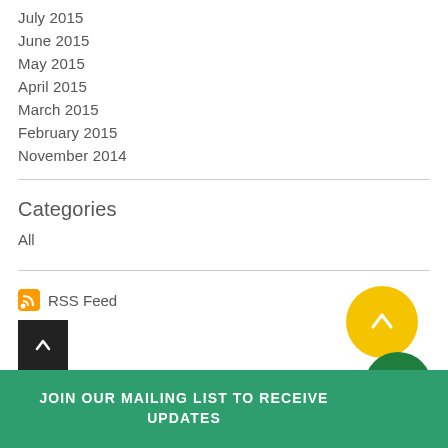July 2015
June 2015
May 2015
April 2015
March 2015
February 2015
November 2014
Categories
All
RSS Feed
JOIN OUR MAILING LIST TO RECEIVE UPDATES